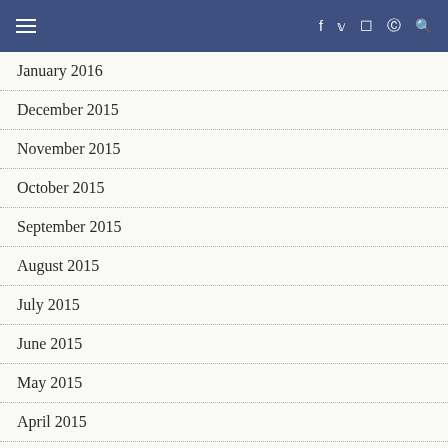Navigation bar with menu icon and social icons: f, twitter, instagram, pinterest, search
January 2016
December 2015
November 2015
October 2015
September 2015
August 2015
July 2015
June 2015
May 2015
April 2015
February 2015